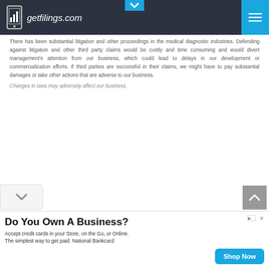getfilings.com
There has been substantial litigation and other proceedings in the medical diagnostic industries. Defending against litigation and other third party claims would be costly and time consuming and would divert management's attention from our business, which could lead to delays in our development or commercialization efforts. If third parties are successful in their claims, we might have to pay substantial damages or take other actions that are adverse to our business.
Changes in laws may adversely affect our business.
Do You Own A Business? Accept credit cards in your Store, on the Go, or Online. The simplest way to get paid. National Bankcard